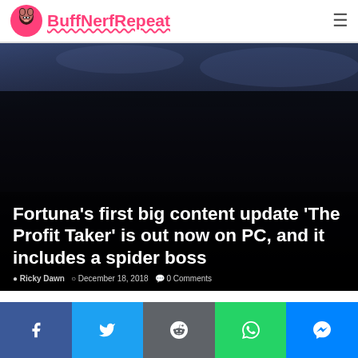BuffNerfRepeat
[Figure (screenshot): Dark hero image with article title overlay showing Warframe game scene]
Fortuna’s first big content update ‘The Profit Taker’ is out now on PC, and it includes a spider boss
Ricky Dawn   December 18, 2018   0 Comments
[Figure (infographic): Social share bar with Facebook, Twitter, Reddit, WhatsApp, and Messenger buttons]